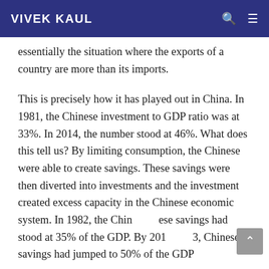VIVEK KAUL
essentially the situation where the exports of a country are more than its imports.
This is precisely how it has played out in China. In 1981, the Chinese investment to GDP ratio was at 33%. In 2014, the number stood at 46%. What does this tell us? By limiting consumption, the Chinese were able to create savings. These savings were then diverted into investments and the investment created excess capacity in the Chinese economic system. In 1982, the Chinese savings had stood at 35% of the GDP. By 2013, Chinese savings had jumped to 50% of the GDP